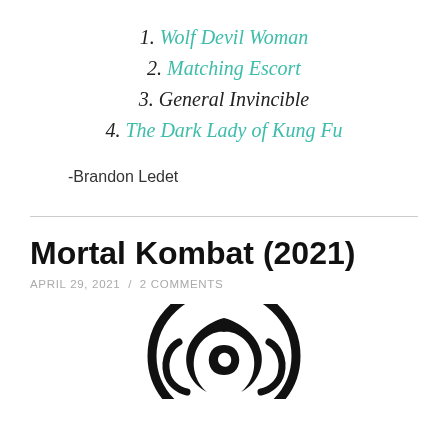1. Wolf Devil Woman
2. Matching Escort
3. General Invincible
4. The Dark Lady of Kung Fu
-Brandon Ledet
Mortal Kombat (2021)
APRIL 29, 2021 / 2 COMMENTS
[Figure (logo): Mortal Kombat dragon logo — circular dragon head silhouette in black and white]